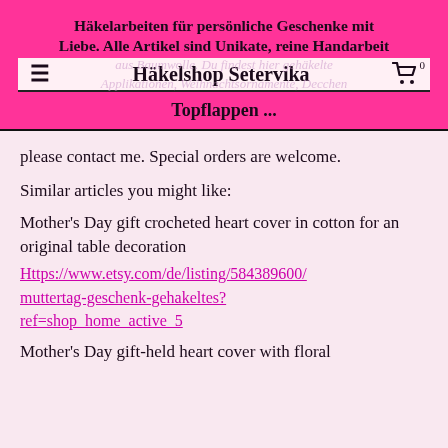Häkelarbeiten für persönliche Geschenke mit Liebe. Alle Artikel sind Unikate, reine Handarbeit
Häkelshop Setervika
aus Baumwolle. Du findest hier gehäkelte Applikationen, Weihnachtsornamente, Decchen, Topflappen ...
Topflappen ...
please contact me. Special orders are welcome.
Similar articles you might like:
Mother's Day gift crocheted heart cover in cotton for an original table decoration
Https://www.etsy.com/de/listing/584389600/muttertag-geschenk-gehakeltes?ref=shop_home_active_5
Mother's Day gift-held heart cover with floral